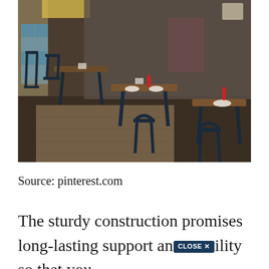[Figure (photo): Interior of a restaurant or cafe showing wooden tables set with white plates, condiments and menus, surrounded by dark navy/black wooden chairs. The floor has a mix of concrete and a textured rug. Colorful wall decorations are visible in the background.]
Source: pinterest.com
The sturdy construction promises long-lasting support an[CLOSE X]ility so that you